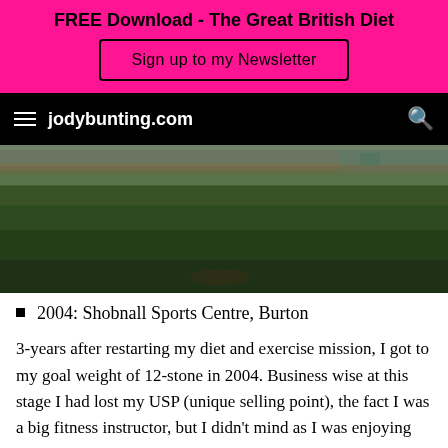FREE Download - The Great British Diet
Sign up to my Newsletter
jodybunting.com
[Figure (photo): Outdoor grass sports field with spectators in background, taken at Shobnall Sports Centre, Burton, 2004]
2004: Shobnall Sports Centre, Burton
3-years after restarting my diet and exercise mission, I got to my goal weight of 12-stone in 2004. Business wise at this stage I had lost my USP (unique selling point), the fact I was a big fitness instructor, but I didn't mind as I was enjoying just being "normal." I